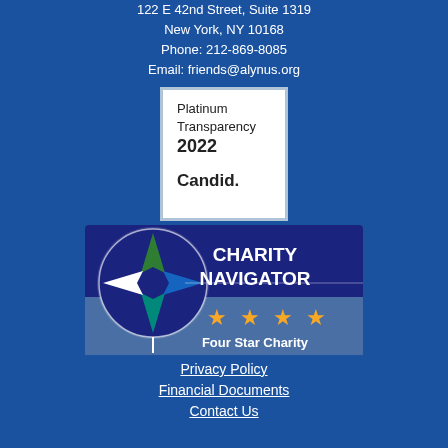122 E 42nd Street, Suite 1319
New York, NY 10168
Phone: 212-869-8085
Email: friends@alynus.org
[Figure (logo): Candid Platinum Transparency 2022 badge — white square with light blue border, text reads Platinum Transparency 2022 Candid.]
[Figure (logo): Charity Navigator Four Star Charity badge — dark navy and steel blue rectangle with compass-rose logo on left and text CHARITY NAVIGATOR with four gold stars and Four Star Charity below.]
Privacy Policy
Financial Documents
Contact Us